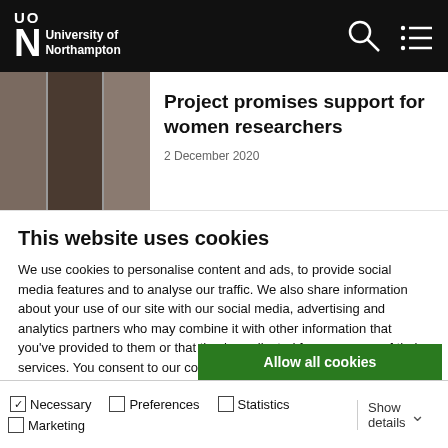University of Northampton
Project promises support for women researchers
This website uses cookies
We use cookies to personalise content and ads, to provide social media features and to analyse our traffic. We also share information about your use of our site with our social media, advertising and analytics partners who may combine it with other information that you've provided to them or that they've collected from your use of their services. You consent to our cookies if you continue to use our website.
Allow all cookies
Allow selection
Use necessary cookies only
Necessary  Preferences  Statistics  Marketing  Show details